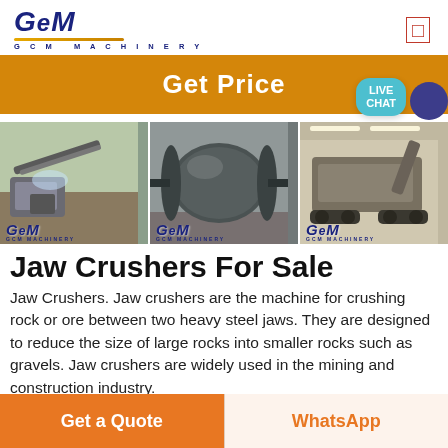[Figure (logo): GCM Machinery logo with stylized GCM text in dark blue italic, gold underline, and 'GCM MACHINERY' subtitle]
[Figure (photo): Three side-by-side industrial machinery photos: a jaw crusher at a quarry site, a large ball mill cylinder in a factory, and a mobile crusher unit in a warehouse. Each has GCM watermark branding.]
Jaw Crushers For Sale
Jaw Crushers. Jaw crushers are the machine for crushing rock or ore between two heavy steel jaws. They are designed to reduce the size of large rocks into smaller rocks such as gravels. Jaw crushers are widely used in the mining and construction industry.